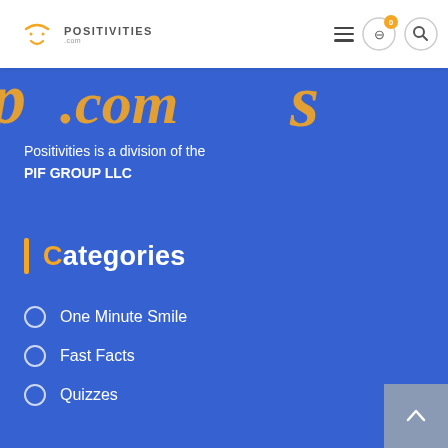Positivities.com navigation bar with logo, hamburger menu, cart (0), and search icons
[Figure (screenshot): Decorative orange cursive text partially visible at top of blue section, showing '.com' and partial letters from the Positivities logo]
Positivities is a division of the PIF GROUP LLC
Categories
One Minute Smile
Fast Facts
Quizzes